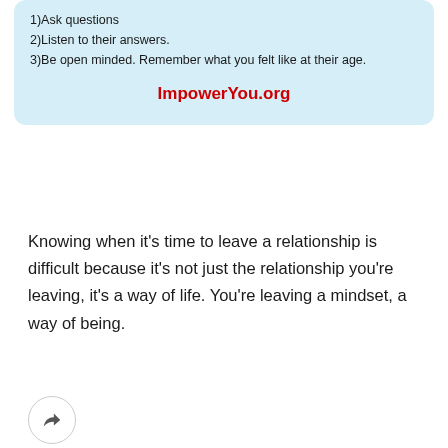[Figure (infographic): Light blue rounded box with text listing steps: 1)Ask questions, 2)Listen to their answers., 3)Be open minded. Remember what you felt like at their age. Followed by ImpowerYou.org in red bold text.]
1)Ask questions
2)Listen to their answers.
3)Be open minded. Remember what you felt like at their age.
ImpowerYou.org
Knowing when it's time to leave a relationship is difficult because it's not just the relationship you're leaving, it's a way of life. You're leaving a mindset, a way of being.